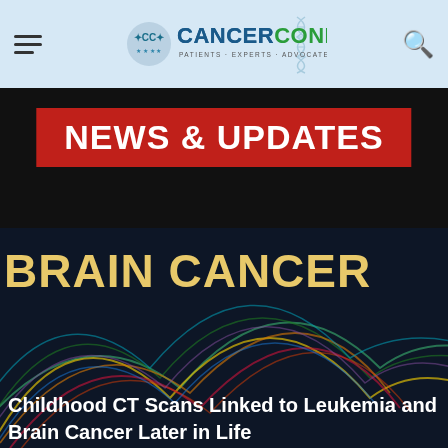CancerConnect — Patients · Experts · Advocates · Community
NEWS & UPDATES
[Figure (illustration): Brain Cancer banner with illustrated brain icon outline and colorful wave/neural line graphics on dark background. Large text reads BRAIN CANCER.]
Childhood CT Scans Linked to Leukemia and Brain Cancer Later in Life